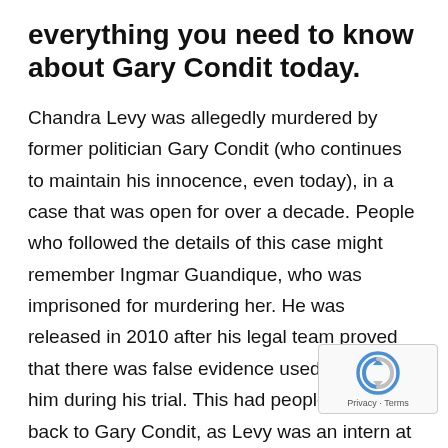everything you need to know about Gary Condit today.
Chandra Levy was allegedly murdered by former politician Gary Condit (who continues to maintain his innocence, even today), in a case that was open for over a decade. People who followed the details of this case might remember Ingmar Guandique, who was imprisoned for murdering her. He was released in 2010 after his legal team proved that there was false evidence used against him during his trial. This had people turning back to Gary Condit, as Levy was an intern at his office who he allegedly had an affair with. Find out what happened to the Chandra Levy-Gary Condit case, and see